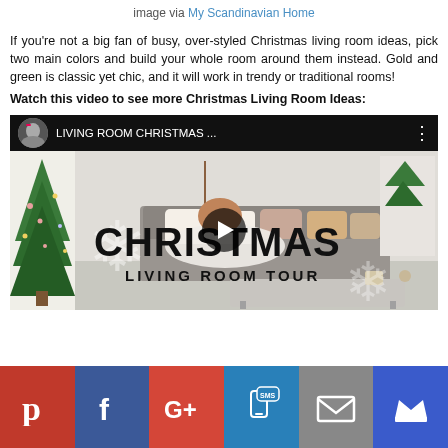image via My Scandinavian Home
If you're not a big fan of busy, over-styled Christmas living room ideas, pick two main colors and build your whole room around them instead. Gold and green is classic yet chic, and it will work in trendy or traditional rooms!
Watch this video to see more Christmas Living Room Ideas:
[Figure (screenshot): YouTube video thumbnail showing a Christmas living room tour. Top bar shows channel avatar, title 'LIVING ROOM CHRISTMAS ...' with three dots menu. Main image shows a decorated living room with sofa, pillows, fur throws, coffee table, copper lamp, and Christmas tree on left. Bold text overlaid reads 'CHRISTMAS LIVING ROOM TOUR' with a play button and snowflake decorations.]
[Figure (infographic): Social media share buttons bar: Pinterest (red), Facebook (dark blue), Google+ (orange-red), SMS (blue), Email (grey), Crown/bookmark (blue)]